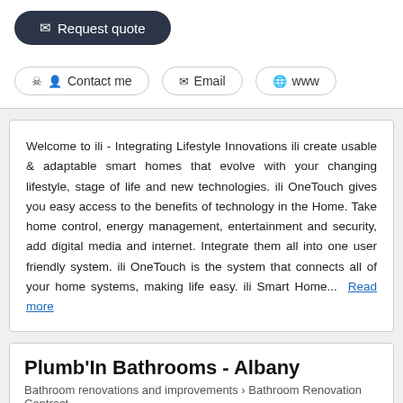Request quote
Contact me
Email
www
Welcome to ili - Integrating Lifestyle Innovations ili create usable & adaptable smart homes that evolve with your changing lifestyle, stage of life and new technologies. ili OneTouch gives you easy access to the benefits of technology in the Home. Take home control, energy management, entertainment and security, add digital media and internet. Integrate them all into one user friendly system. ili OneTouch is the system that connects all of your home systems, making life easy. ili Smart Home... Read more
Plumb'In Bathrooms - Albany
Bathroom renovations and improvements > Bathroom Renovation Contract...
[Figure (photo): Broken image placeholder for Plumb'In Bathrooms - Albany Rosedale (0632) 1]
Plumb'In Bathrooms - Albany Rosedale (0632) 1